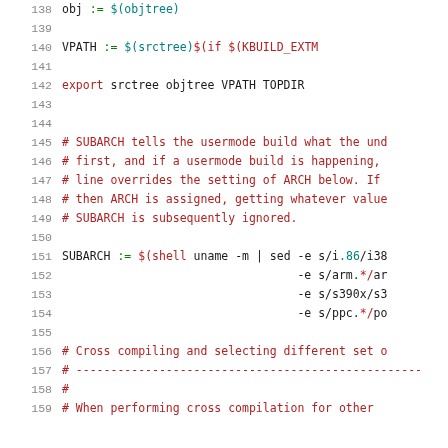138   obj                 := $(objtree)
139
140   VPATH               := $(srctree)$(if $(KBUILD_EXTM...
141
142   export srctree objtree VPATH TOPDIR
143
144
145   # SUBARCH tells the usermode build what the und...
146   # first, and if a usermode build is happening,...
147   # line overrides the setting of ARCH below.  If...
148   # then ARCH is assigned, getting whatever value...
149   # SUBARCH is subsequently ignored.
150
151   SUBARCH := $(shell uname -m | sed -e s/i.86/i38...
152                                   -e s/arm.*/ar...
153                                   -e s/s390x/s3...
154                                   -e s/ppc.*/po...
155
156   # Cross compiling and selecting different set o...
157   # --------------------------------------------------
158   #
159   # When performing cross compilation for other...